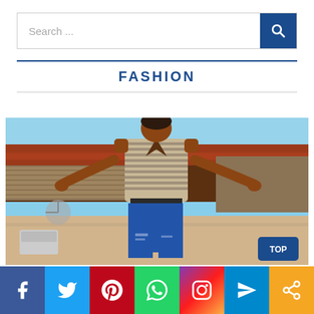Search ...
FASHION
[Figure (photo): A young woman posing outdoors wearing a striped tank top and ripped jeans, with arms spread wide, standing in front of a building with a thatched/tiled roof.]
Social share bar: Facebook, Twitter, Pinterest, WhatsApp, Instagram, Telegram, Share